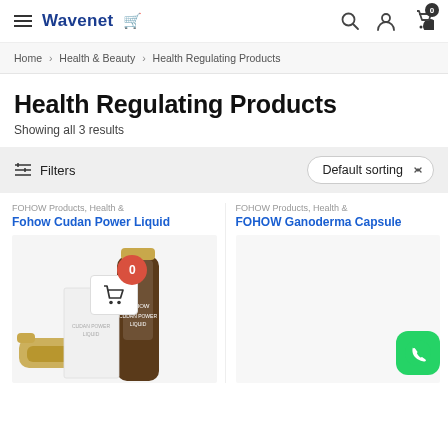Wavenet — navigation bar with hamburger menu, search, user, and cart icons
Home > Health & Beauty > Health Regulating Products
Health Regulating Products
Showing all 3 results
Filters  Default sorting
FOHOW Products, Health &
Fohow Cudan Power Liquid
FOHOW Products, Health &
FOHOW Ganoderma Capsule
[Figure (photo): Product image of Fohow Cudan Power Liquid — brown glass bottles with white packaging, with a red circular badge showing 0 and a basket icon overlay]